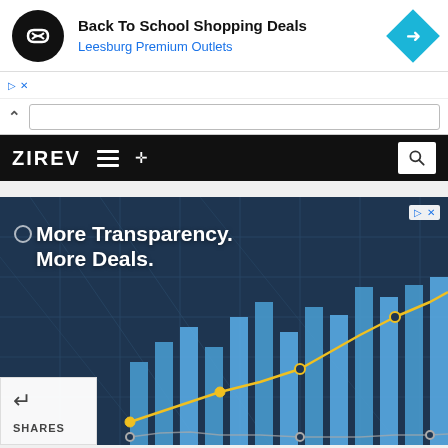[Figure (screenshot): Advertisement banner: Back To School Shopping Deals, Leesburg Premium Outlets, with circular logo and blue diamond arrow icon]
[Figure (screenshot): Browser navigation bar with caret and URL input field]
[Figure (screenshot): ZIREV website navigation bar with hamburger menu, shuffle icon, and search button]
[Figure (screenshot): Advertisement image: More Transparency. More Deals. — dark blue financial themed banner with bar chart and line chart, share panel at bottom left]